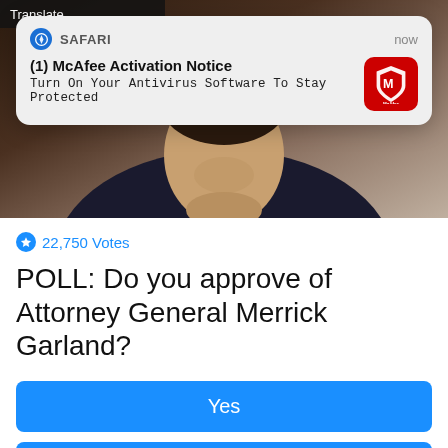[Figure (screenshot): Notification popup from Safari: '(1) McAfee Activation Notice — Turn On Your Antivirus Software To Stay Protected' with McAfee logo icon, overlaid on a webpage showing a photo of a man in a suit]
[Figure (photo): Background photo of a man in a dark suit looking up, behind a white shirt and tie — appears to be Merrick Garland at a hearing]
22,750 Votes
POLL: Do you approve of Attorney General Merrick Garland?
Yes
No